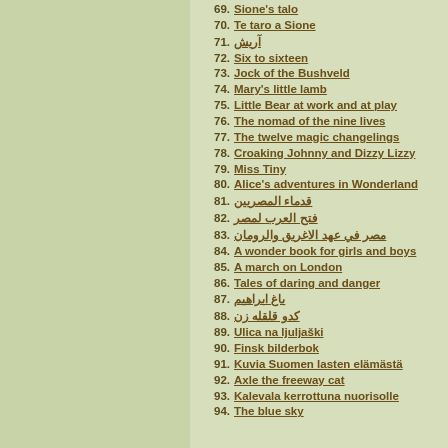69. Sione's talo
70. Te taro a Sione
71. آریش
72. Six to sixteen
73. Jock of the Bushveld
74. Mary's little lamb
75. Little Bear at work and at play
76. The nomad of the nine lives
77. The twelve magic changelings
78. Croaking Johnny and Dizzy Lizzy
79. Miss Tiny
80. Alice's adventures in Wonderland
81. قدماء المصريين
82. فتح العرب لمصر
83. مصر في عهد الاغريق والرومان
84. A wonder book for girls and boys
85. A march on London
86. Tales of daring and danger
87. باغ ابراهیم
88. كدو قلقله زن
89. Ulica na ljuljaški
90. Finsk bilderbok
91. Kuvia Suomen lasten elämästä
92. Axle the freeway cat
93. Kalevala kerrottuna nuorisolle
94. The blue sky